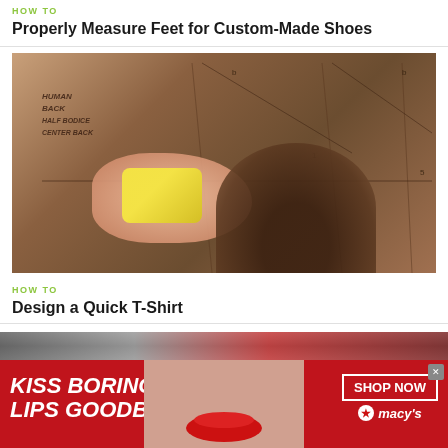HOW TO
Properly Measure Feet for Custom-Made Shoes
[Figure (photo): Person measuring a cardboard pattern pinned to a board, with a yellow tape measure and handwritten notes visible]
HOW TO
Design a Quick T-Shirt
[Figure (photo): Advertisement banner: Macy's lip product ad with text 'KISS BORING LIPS GOODBYE', a model with red lips, and a 'SHOP NOW' button with Macy's star logo]